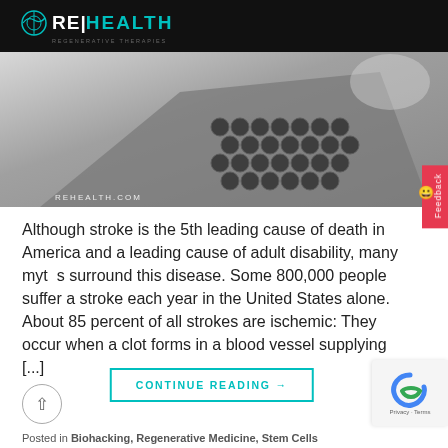RE|HEALTH - REGENERATIVE THERAPIES
[Figure (photo): Black and white close-up photo of a medical device with honeycomb mesh pattern, REHEALTH.COM watermark in lower left]
Although stroke is the 5th leading cause of death in America and a leading cause of adult disability, many myths surround this disease. Some 800,000 people suffer a stroke each year in the United States alone. About 85 percent of all strokes are ischemic: They occur when a clot forms in a blood vessel supplying [...]
CONTINUE READING →
Posted in Biohacking, Regenerative Medicine, Stem Cells